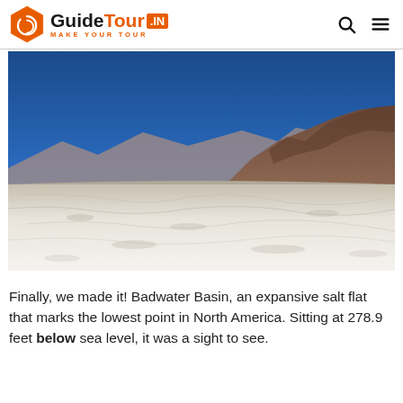GuideTour.IN — MAKE YOUR TOUR
[Figure (photo): Badwater Basin salt flat in Death Valley, USA. Expansive white salt flat in foreground, rocky mountains on the right, deep blue sky above.]
Finally, we made it! Badwater Basin, an expansive salt flat that marks the lowest point in North America. Sitting at 278.9 feet below sea level, it was a sight to see.